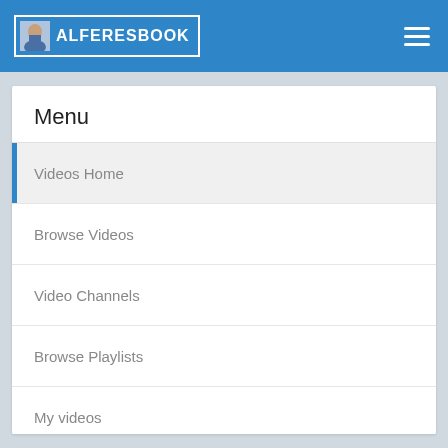ALFERESBOOK
Menu
Videos Home
Browse Videos
Video Channels
Browse Playlists
My videos
My Favourite Videos